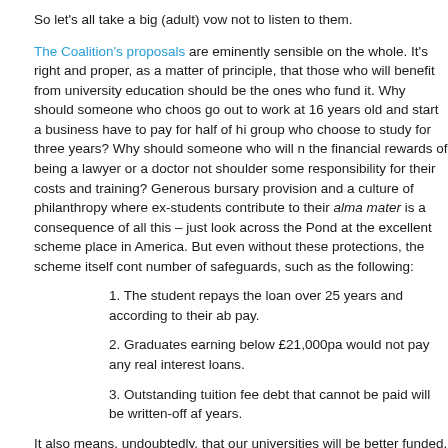So let's all take a big (adult) vow not to listen to them.
The Coalition's proposals are eminently sensible on the whole. It's right and proper, as a matter of principle, that those who will benefit from university education should be the ones who fund it. Why should someone who choose go out to work at 16 years old and start a business have to pay for half of hi group who choose to study for three years? Why should someone who will the financial rewards of being a lawyer or a doctor not shoulder some responsibility for their costs and training? Generous bursary provision and a culture of philanthropy where ex-students contribute to their alma mater is a consequence of all this – just look across the Pond at the excellent scheme place in America. But even without these protections, the scheme itself cont number of safeguards, such as the following:
1. The student repays the loan over 25 years and according to their ab pay.
2. Graduates earning below £21,000pa would not pay any real interest loans.
3. Outstanding tuition fee debt that cannot be paid will be written-off af years.
It also means, undoubtedly, that our universities will be better funded, will produce better research and will turn out better graduates.